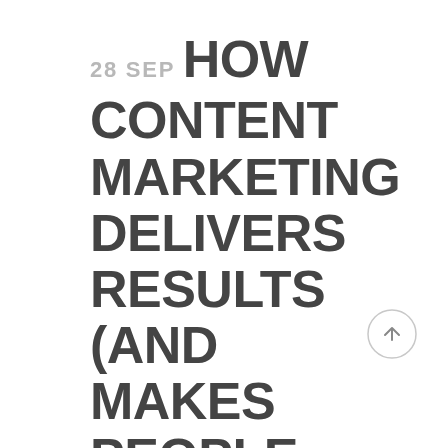28 SEP HOW CONTENT MARKETING DELIVERS RESULTS (AND MAKES PEOPLE FEEL GOOD ABOUT MARKETING)
[Figure (other): A circular scroll-to-top button with an upward arrow, outlined circle style in light gray]